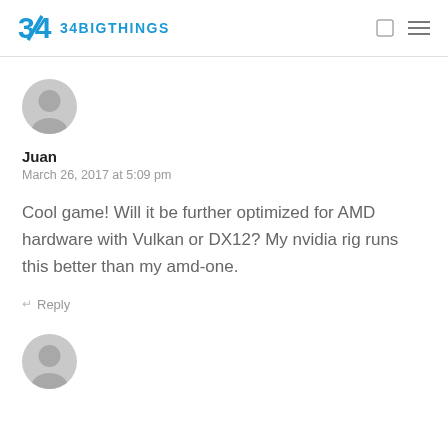34BIGTHINGS
[Figure (illustration): Gray circular user avatar icon]
Juan
March 26, 2017 at 5:09 pm
Cool game! Will it be further optimized for AMD hardware with Vulkan or DX12? My nvidia rig runs this better than my amd-one.
↵ Reply
[Figure (illustration): Gray circular user avatar icon at bottom]